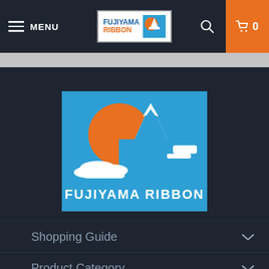MENU | FUJIYAMA RIBBON | 0
[Figure (logo): Fujiyama Ribbon logo — large version showing Mt. Fuji in blue with orange sun and white clouds, text FUJIYAMA RIBBON at bottom, centered on dark background]
Shopping Guide
Product Category
About FUJIYAMA RIBBON